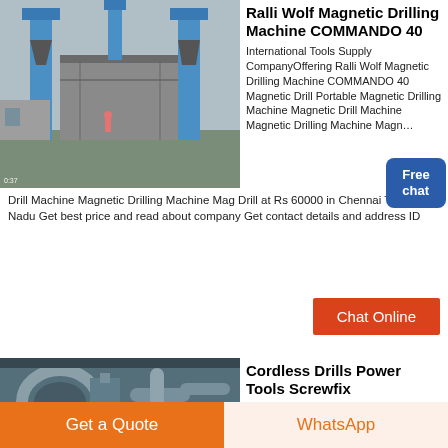[Figure (photo): Industrial facility with blue metal towers and silos, machinery visible]
Ralli Wolf Magnetic Drilling Machine COMMANDO 40
International Tools Supply CompanyOffering Ralli Wolf Magnetic Drilling Machine COMMANDO 40 Magnetic Drill Portable Magnetic Drilling Machine Magnetic Drill Machine Magnetic Drilling Machine Mag Drill at Rs 60000 in Chennai Tamil Nadu Get best price and read about company Get contact details and address ID
Chat Online
[Figure (photo): Industrial machinery with large pipes and ducts in a factory setting]
Cordless Drills Power Tools Screwfix
Buying the right battery drill for the job will ensure you get
Get a Quote
WhatsApp